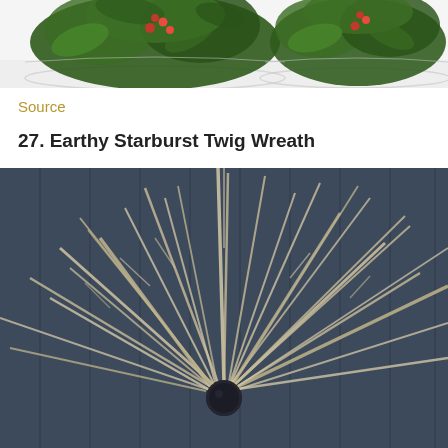[Figure (photo): Holly branches with red berries arranged in clear glass bowls on a white surface, partial view cropped at top of page.]
Source
27. Earthy Starburst Twig Wreath
[Figure (photo): A starburst wreath made of pale/whitened natural twigs and branches radiating outward from a dark central sphere, hung on a dark navy/slate painted wooden plank door with a thin string visible at the top.]